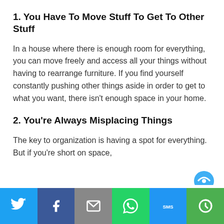1. You Have To Move Stuff To Get To Other Stuff
In a house where there is enough room for everything, you can move freely and access all your things without having to rearrange furniture. If you find yourself constantly pushing other things aside in order to get to what you want, there isn't enough space in your home.
2. You're Always Misplacing Things
The key to organization is having a spot for everything. But if you're short on space,